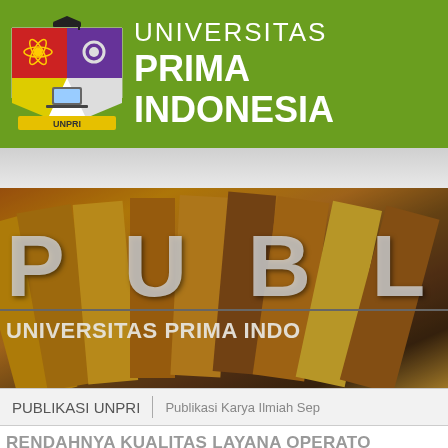[Figure (logo): Universitas Prima Indonesia (UNPRI) crest/shield logo with graduation cap, atom symbol, gears, laptop, and ribbon banner with UNPRI text]
UNIVERSITAS PRIMA INDONESIA
[Figure (photo): Banner image with stacked books in golden/brown tones, overlaid with large text 'PUBLI' and subtitle 'UNIVERSITAS PRIMA INDO']
PUBLIKASI UNPRI
Publikasi Karya Ilmiah Sep
RENDAHNYA KUALITAS LAYANA OPERATO DALAM PENCAPAIAN TINGKAT KEPUASAN